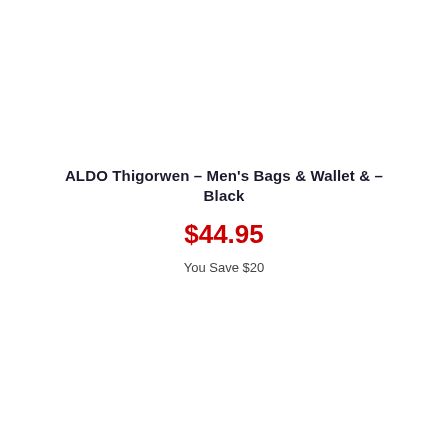ALDO Thigorwen – Men's Bags & Wallet & – Black
$44.95
You Save $20